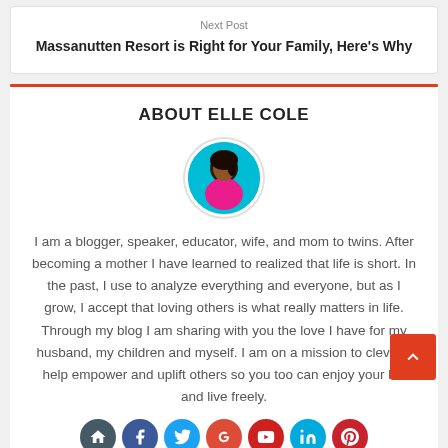Next Post
Massanutten Resort is Right for Your Family, Here's Why
ABOUT ELLE COLE
[Figure (photo): Circular profile photo of Elle Cole with teal background]
I am a blogger, speaker, educator, wife, and mom to twins. After becoming a mother I have learned to realized that life is short. In the past, I use to analyze everything and everyone, but as I grow, I accept that loving others is what really matters in life. Through my blog I am sharing with you the love I have for my husband, my children and myself. I am on a mission to cleverly help empower and uplift others so you too can enjoy your life and live freely.
[Figure (infographic): Row of social media icons: home, Facebook, Twitter, Google+, YouTube, LinkedIn, Pinterest]